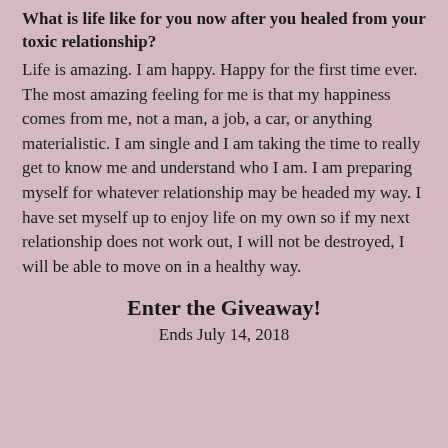What is life like for you now after you healed from your toxic relationship?
Life is amazing. I am happy. Happy for the first time ever. The most amazing feeling for me is that my happiness comes from me, not a man, a job, a car, or anything materialistic. I am single and I am taking the time to really get to know me and understand who I am. I am preparing myself for whatever relationship may be headed my way. I have set myself up to enjoy life on my own so if my next relationship does not work out, I will not be destroyed, I will be able to move on in a healthy way.
Enter the Giveaway!
Ends July 14, 2018
| IT'S OVER! | 2 5 5 2 | 0/22 |
| Win a paperback copy |  |  |